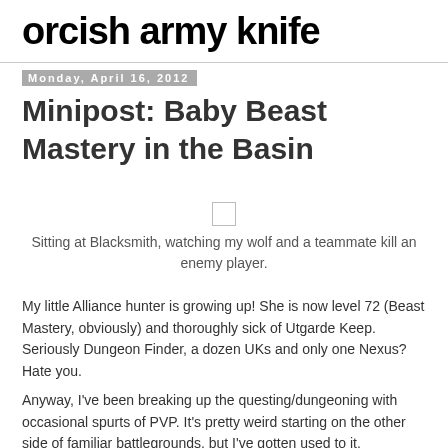orcish army knife
Monday, April 16, 2012
Minipost: Baby Beast Mastery in the Basin
[Figure (photo): Small image placeholder thumbnail]
Sitting at Blacksmith, watching my wolf and a teammate kill an enemy player.
My little Alliance hunter is growing up! She is now level 72 (Beast Mastery, obviously) and thoroughly sick of Utgarde Keep. Seriously Dungeon Finder, a dozen UKs and only one Nexus? Hate you.
Anyway, I've been breaking up the questing/dungeoning with occasional spurts of PVP. It's pretty weird starting on the other side of familiar battlegrounds, but I've gotten used to it.